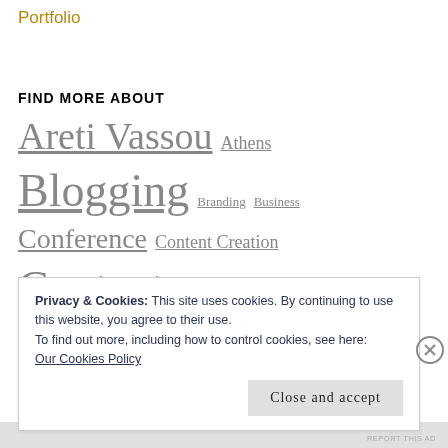Portfolio
FIND MORE ABOUT
Areti Vassou Athens Blogging Branding Business Conference Content Creation Content Creators Content Marketing Copywriting Tips Design Digital Digital Copywriting Digital Marketing Digital Strategy Events Graphic Design Greece
Privacy & Cookies: This site uses cookies. By continuing to use this website, you agree to their use.
To find out more, including how to control cookies, see here:
Our Cookies Policy
Close and accept